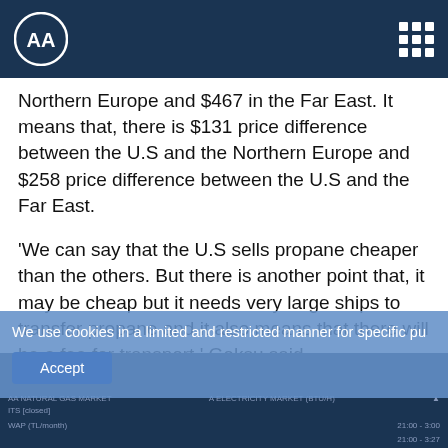AA (Anadolu Agency) logo and navigation
Northern Europe and $467 in the Far East. It means that, there is $131 price difference between the U.S and the Northern Europe and $258 price difference between the U.S and the Far East.
'We can say that the U.S sells propane cheaper than the others. But there is another point that, it may be cheap but it needs very large ships to transfer propane and it also means that there will be a fee for transport,' Goksu said.
The biggest LPG storage terminal's capacity is around 30,000 tonnes in Turkey
We use cookies in a limited and restricted manner for specific pu